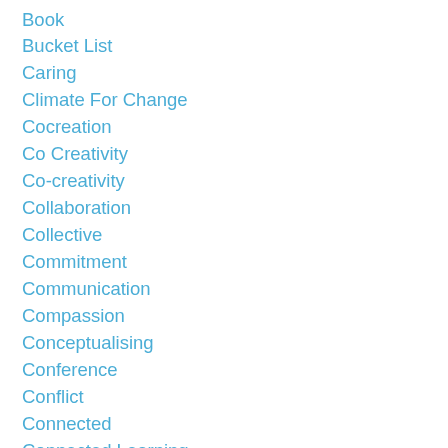Book
Bucket List
Caring
Climate For Change
Cocreation
Co Creativity
Co-creativity
Collaboration
Collective
Commitment
Communication
Compassion
Conceptualising
Conference
Conflict
Connected
Connected Learning
Connections
Constructionism
Creativity
Creativity In Development